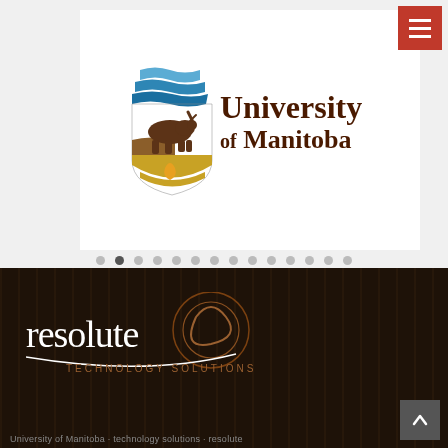[Figure (logo): University of Manitoba logo with bison and shield emblem alongside text 'University of Manitoba']
[Figure (other): Carousel dot navigation with 14 dots, second dot active]
[Figure (logo): Resolute Technology Solutions logo in white with circular swirl graphic, on dark brown background]
University of Manitoba